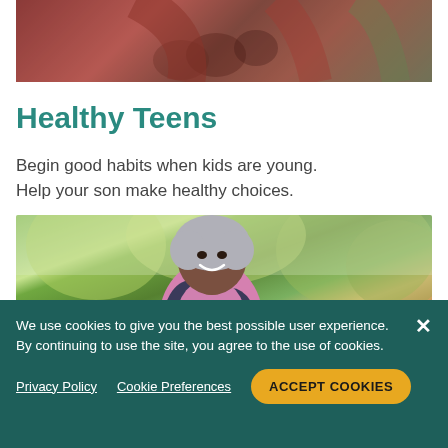[Figure (photo): Cropped top portion of photo showing people running outdoors, red/maroon clothing visible]
Healthy Teens
Begin good habits when kids are young. Help your son make healthy choices.
[Figure (photo): Woman with grey hair smiling, holding red dumbbells, wearing pink top and dark jacket, exercising outdoors in a park setting]
We use cookies to give you the best possible user experience. By continuing to use the site, you agree to the use of cookies.
Privacy Policy   Cookie Preferences   ACCEPT COOKIES